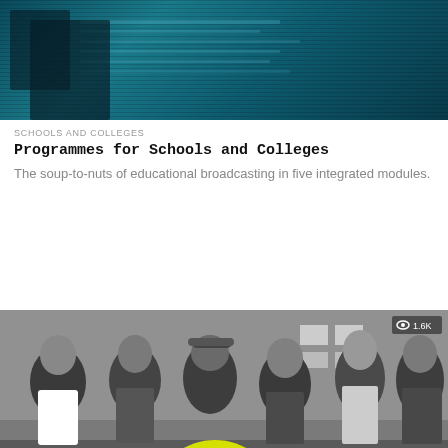[Figure (photo): Dark teal/blue tinted image, appears to be a screen or TV with horizontal scan lines]
SCHOOLS AND COLLEGES
Programmes for Schools and Colleges
The soup-to-nuts of educational broadcasting in five integrated modules.
[Figure (photo): Black and white photograph of six men standing together outdoors in front of a building, with a yellow circular shape partially visible at the bottom. View count badge showing 1.6K in top right corner.]
PLAY FOR TODAY